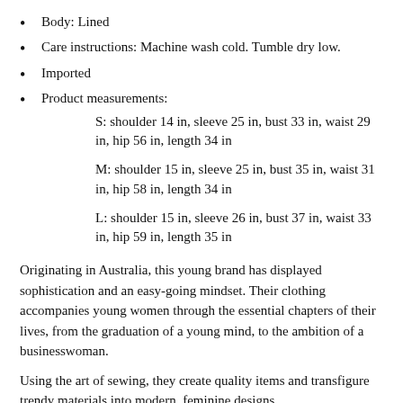Body: Lined
Care instructions: Machine wash cold. Tumble dry low.
Imported
Product measurements:
S: shoulder 14 in, sleeve 25 in, bust 33 in, waist 29 in, hip 56 in, length 34 in
M: shoulder 15 in, sleeve 25 in, bust 35 in, waist 31 in, hip 58 in, length 34 in
L: shoulder 15 in, sleeve 26 in, bust 37 in, waist 33 in, hip 59 in, length 35 in
Originating in Australia, this young brand has displayed sophistication and an easy-going mindset. Their clothing accompanies young women through the essential chapters of their lives, from the graduation of a young mind, to the ambition of a businesswoman.
Using the art of sewing, they create quality items and transfigure trendy materials into modern, feminine designs.
From universities, to the beach, or the workplace, if you are not willing to compromise your style, then the affordable Double [continues]